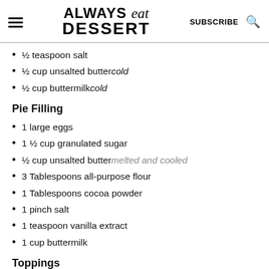ALWAYS eat DESSERT | SUBSCRIBE
½ teaspoon salt
½ cup unsalted butter cold
½ cup buttermilk cold
Pie Filling
1 large eggs
1 ½ cup granulated sugar
½ cup unsalted butter melted and cooled
3 Tablespoons all-purpose flour
1 Tablespoons cocoa powder
1 pinch salt
1 teaspoon vanilla extract
1 cup buttermilk
Toppings
Salted Caramel Sauce (optional)